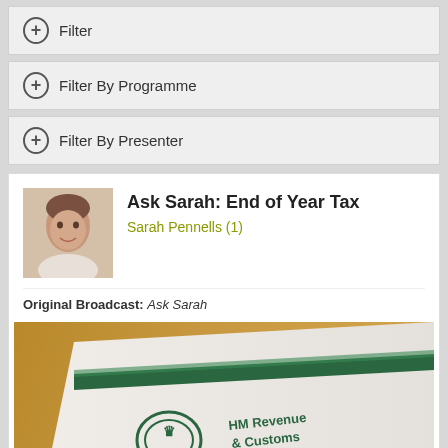Filter
Filter By Programme
Filter By Presenter
Ask Sarah: End of Year Tax
Sarah Pennells (1)
Original Broadcast: Ask Sarah
[Figure (photo): Photo of HM Revenue & Customs document/folder with HMRC logo visible]